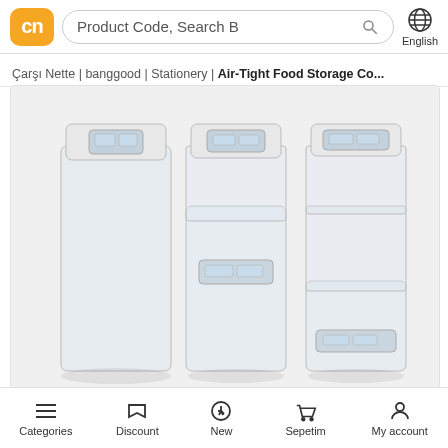[Figure (screenshot): Mobile e-commerce app header with cn logo, search bar reading 'Product Code, Search B', and English globe icon]
Çarşı Nette | banggood | Stationery | Air-Tight Food Storage Co...
[Figure (photo): Three air-tight food storage containers with white locking lids and transparent bodies, arranged side by side at different heights]
[Figure (screenshot): Bottom navigation bar with Categories, Discount, New, Sepetim, My account icons]